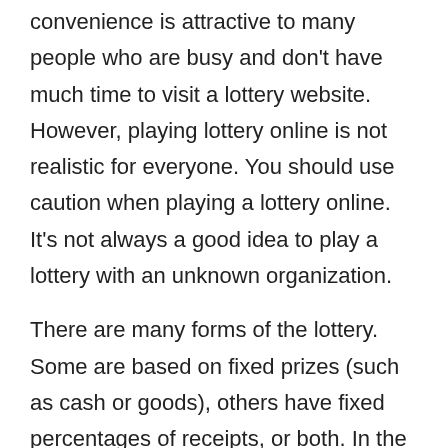convenience is attractive to many people who are busy and don't have much time to visit a lottery website. However, playing lottery online is not realistic for everyone. You should use caution when playing a lottery online. It's not always a good idea to play a lottery with an unknown organization.
There are many forms of the lottery. Some are based on fixed prizes (such as cash or goods), others have fixed percentages of receipts, or both. In the United States, lottery games are most popular. The National Basketball Association holds a lottery to determine the